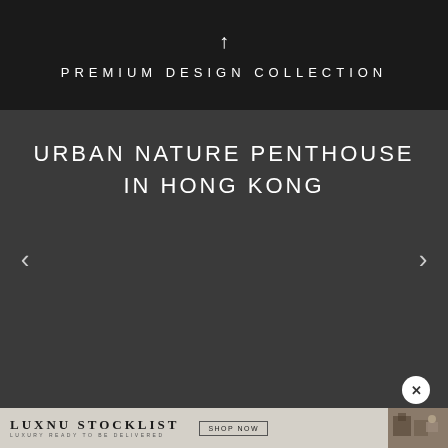↑
PREMIUM DESIGN COLLECTION
[Figure (screenshot): Dark gray slideshow panel showing Urban Nature Penthouse in Hong Kong project title with left and right navigation arrows]
URBAN NATURE PENTHOUSE IN HONG KONG
[Figure (screenshot): Ad banner: LUXNU STOCKLIST - Luxury Ready to Be Delivered, with SHOP NOW button and product image on right]
LUXNU STOCKLIST LUXURY READY TO BE DELIVERED
SHOP NOW